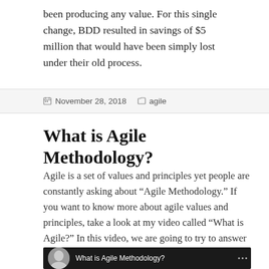been producing any value. For this single change, BDD resulted in savings of $5 million that would have been simply lost under their old process.
November 28, 2018   agile
What is Agile Methodology?
Agile is a set of values and principles yet people are constantly asking about “Agile Methodology.” If you want to know more about agile values and principles, take a look at my video called “What is Agile?” In this video, we are going to try to answer “What is Agile Methodology?”
[Figure (screenshot): Video thumbnail showing a presenter and the title 'What is Agile Methodology?']